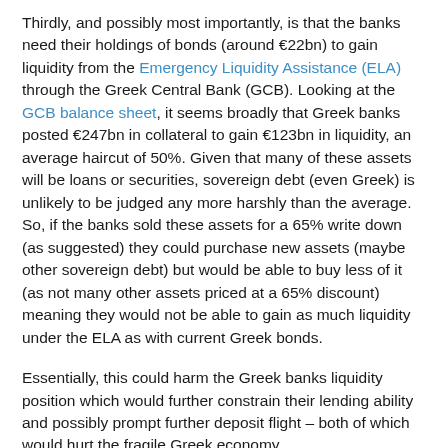Thirdly, and possibly most importantly, is that the banks need their holdings of bonds (around €22bn) to gain liquidity from the Emergency Liquidity Assistance (ELA) through the Greek Central Bank (GCB). Looking at the GCB balance sheet, it seems broadly that Greek banks posted €247bn in collateral to gain €123bn in liquidity, an average haircut of 50%. Given that many of these assets will be loans or securities, sovereign debt (even Greek) is unlikely to be judged any more harshly than the average. So, if the banks sold these assets for a 65% write down (as suggested) they could purchase new assets (maybe other sovereign debt) but would be able to buy less of it (as not many other assets priced at a 65% discount) meaning they would not be able to gain as much liquidity under the ELA as with current Greek bonds.
Essentially, this could harm the Greek banks liquidity position which would further constrain their lending ability and possibly prompt further deposit flight – both of which would hurt the fragile Greek economy.
All in all then, this process could still be counterproductive for